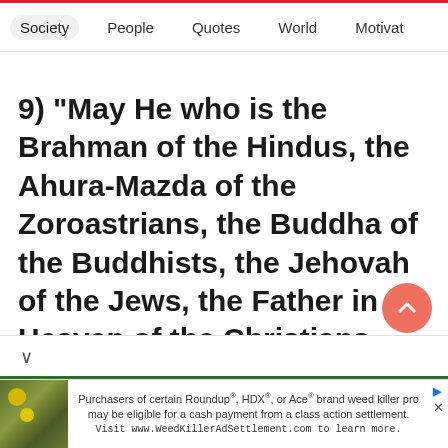Society  People  Quotes  World  Motivat
9) "May He who is the Brahman of the Hindus, the Ahura-Mazda of the Zoroastrians, the Buddha of the Buddhists, the Jehovah of the Jews, the Father in Heaven of the Christians give strength to you to carry out your noble idea."
[Figure (screenshot): Ad banner with plant/flower image on left and text: Purchasers of certain Roundup®, HDX®, or Ace® brand weed killer pro may be eligible for a cash payment from a class action settlement. Visit www.WeedKillerAdSettlement.com to learn more.]